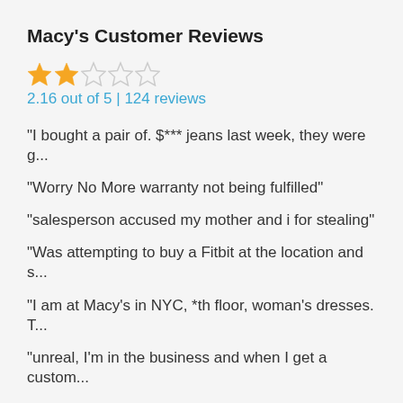Macy's Customer Reviews
[Figure (other): Star rating display showing 2 filled stars and 3 empty stars out of 5]
2.16 out of 5  |  124 reviews
"I bought a pair of. $*** jeans last week, they were g...
"Worry No More warranty not being fulfilled"
"salesperson accused my mother and i for stealing"
"Was attempting to buy a Fitbit at the location and s...
"I am at Macy's in NYC, *th floor, woman's dresses. T...
"unreal, I'm in the business and when I get a custom...
About Macy's
Anda mencari perkhidmatan pelanggan Macy's, jadi